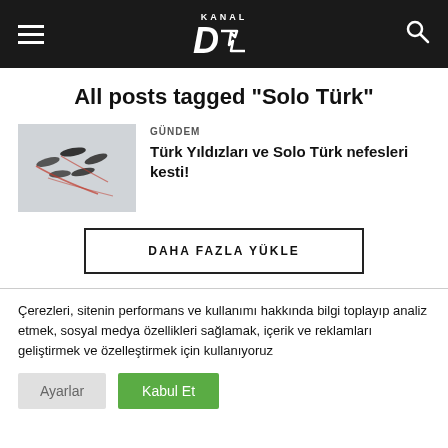KANAL D — site header with hamburger menu, logo, and search icon
All posts tagged "Solo Türk"
[Figure (photo): Turkish aerobatic jets flying in formation with red smoke trails against a grey sky]
GÜNDEM
Türk Yıldızları ve Solo Türk nefesleri kesti!
DAHA FAZLA YÜKLE
Çerezleri, sitenin performans ve kullanımı hakkında bilgi toplayıp analiz etmek, sosyal medya özellikleri sağlamak, içerik ve reklamları geliştirmek ve özelleştirmek için kullanıyoruz
Ayarlar
Kabul Et